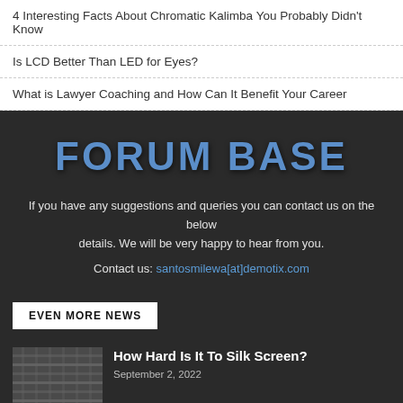4 Interesting Facts About Chromatic Kalimba You Probably Didn't Know
Is LCD Better Than LED for Eyes?
What is Lawyer Coaching and How Can It Benefit Your Career
[Figure (logo): Forum Base logo in large bold blue text on dark background]
If you have any suggestions and queries you can contact us on the below details. We will be very happy to hear from you.
Contact us: santosmilewa[at]demotix.com
EVEN MORE NEWS
How Hard Is It To Silk Screen?
September 2, 2022